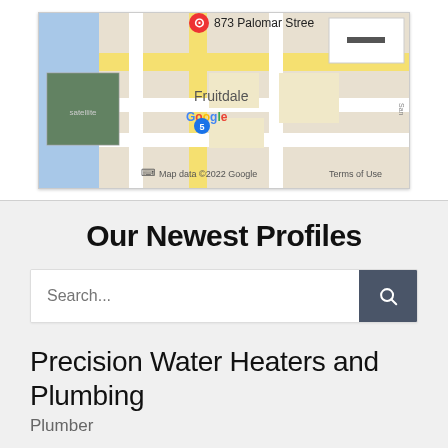[Figure (map): Google Maps showing 873 Palomar Street area with Fruitdale label, map data ©2022 Google, Terms of Use]
Our Newest Profiles
Search...
Precision Water Heaters and Plumbing
Plumber